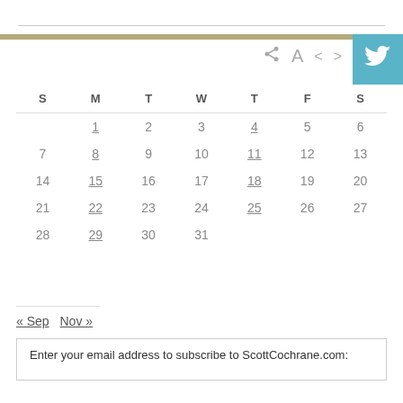| S | M | T | W | T | F | S |
| --- | --- | --- | --- | --- | --- | --- |
|  | 1 | 2 | 3 | 4 | 5 | 6 |
| 7 | 8 | 9 | 10 | 11 | 12 | 13 |
| 14 | 15 | 16 | 17 | 18 | 19 | 20 |
| 21 | 22 | 23 | 24 | 25 | 26 | 27 |
| 28 | 29 | 30 | 31 |  |  |  |
« Sep   Nov »
Enter your email address to subscribe to ScottCochrane.com: